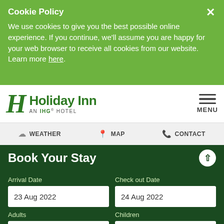Cookie Policy
We use cookies to give you the best possible online experience. If you continue, we'll assume you are happy for your web browser to receive all cookies from our website. Learn more here.
[Figure (logo): Holiday Inn - An IHG Hotel logo with stylized H letter in green]
MENU
WEATHER   MAP   CONTACT
Book Your Stay
Arrival Date
Check out Date
23 Aug 2022
24 Aug 2022
Adults
Children
2
0
Rooms
Corporate Id